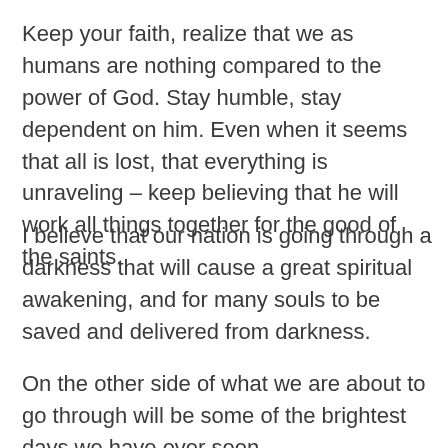Keep your faith, realize that we as humans are nothing compared to the power of God. Stay humble, stay dependent on him. Even when it seems that all is lost, that everything is unraveling – keep believing that he will work all things together for the good of the saints.
I believe that our nation is going through a darkness that will cause a great spiritual awakening, and for many souls to be saved and delivered from darkness.
On the other side of what we are about to go through will be some of the brightest days we have ever seen.